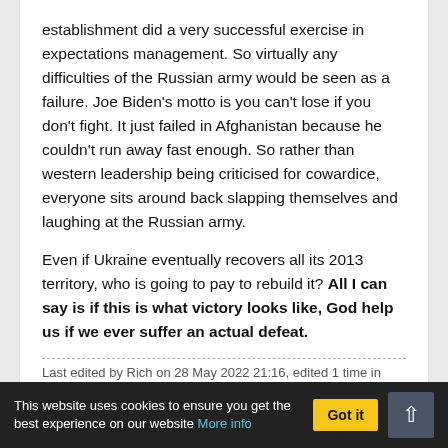establishment did a very successful exercise in expectations management. So virtually any difficulties of the Russian army would be seen as a failure. Joe Biden's motto is you can't lose if you don't fight. It just failed in Afghanistan because he couldn't run away fast enough. So rather than western leadership being criticised for cowardice, everyone sits around back slapping themselves and laughing at the Russian army.

Even if Ukraine eventually recovers all its 2013 territory, who is going to pay to rebuild it? All I can say is if this is what victory looks like, God help us if we ever suffer an actual defeat.
Last edited by Rich on 28 May 2022 21:16, edited 1 time in total.
RE: RUSSIA-UKRAINE WAR 2022
This website uses cookies to ensure you get the best experience on our website More info